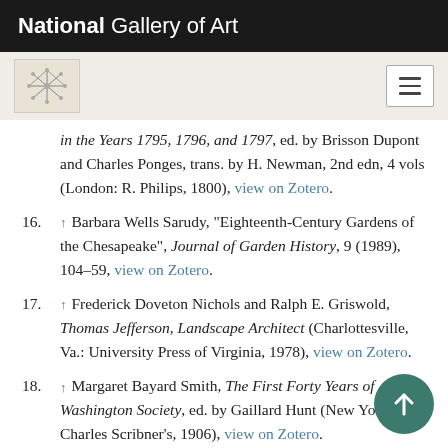National Gallery of Art
in the Years 1795, 1796, and 1797, ed. by Brisson Dupont and Charles Ponges, trans. by H. Newman, 2nd edn, 4 vols (London: R. Philips, 1800), view on Zotero.
16. ↑ Barbara Wells Sarudy, "Eighteenth-Century Gardens of the Chesapeake", Journal of Garden History, 9 (1989), 104–59, view on Zotero.
17. ↑ Frederick Doveton Nichols and Ralph E. Griswold, Thomas Jefferson, Landscape Architect (Charlottesville, Va.: University Press of Virginia, 1978), view on Zotero.
18. ↑ Margaret Bayard Smith, The First Forty Years of Washington Society, ed. by Gaillard Hunt (New York: Charles Scribner's, 1906), view on Zotero.
19. ↑ Fortescue Cuming, Sketches of a Tour to the Western Country (Pittsburgh: Cramer, Spear and Eichbaum, 1810),